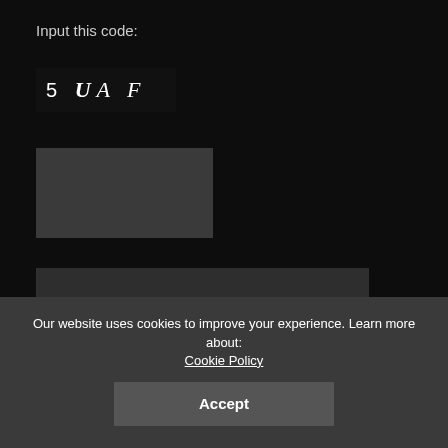Input this code:
[Figure (other): CAPTCHA image showing code: 5 UAF on dark background]
[Figure (other): Empty text input field (grey rectangle)]
Subscribe
Featured Updates
[Figure (photo): Left photo showing white aircraft with red markings]
[Figure (photo): Right photo showing keyboard and leather items]
Our website uses cookies to improve your experience. Learn more about: Cookie Policy
Accept